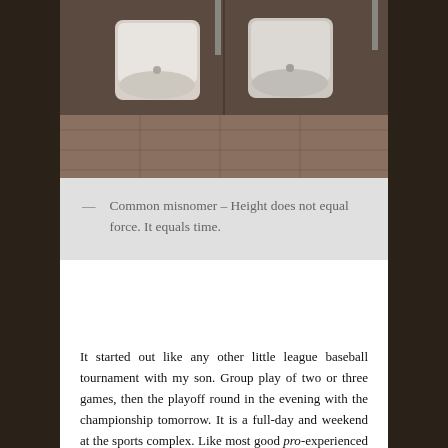[Figure (photo): Photograph of two white urinals mounted on a wall in a public restroom, taken from above looking down, with tiled floor visible.]
— Common misnomer – Height does not equal force. It equals time.
It started out like any other little league baseball tournament with my son. Group play of two or three games, then the playoff round in the evening with the championship tomorrow. It is a full-day and weekend at the sports complex. Like most good pro-experienced fathers we want to impart to our sons our vast knowledge of the game and life. Those coaching tips are very important. I have absolutely no experience of playing baseball to speak of but the tips should be given with the least amount of interruption, even when needing to go to the bathroom between games. We trot over to the Men's side of the building and belly up to the Little Man's and Big Man's urinals. As we stand